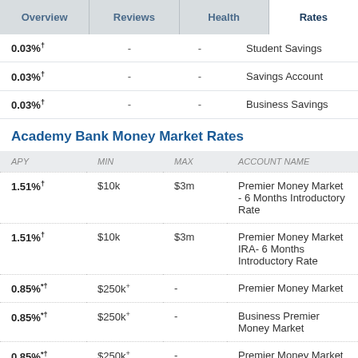Overview | Reviews | Health | Rates
| APY | MIN | MAX | ACCOUNT NAME |
| --- | --- | --- | --- |
| 0.03%† | - | - | Student Savings |
| 0.03%† | - | - | Savings Account |
| 0.03%† | - | - | Business Savings |
Academy Bank Money Market Rates
| APY | MIN | MAX | ACCOUNT NAME |
| --- | --- | --- | --- |
| 1.51%† | $10k | $3m | Premier Money Market - 6 Months Introductory Rate |
| 1.51%† | $10k | $3m | Premier Money Market IRA- 6 Months Introductory Rate |
| 0.85%*† | $250k* | - | Premier Money Market |
| 0.85%*† | $250k* | - | Business Premier Money Market |
| 0.85%*† | $250k* | - | Premier Money Market IRA |